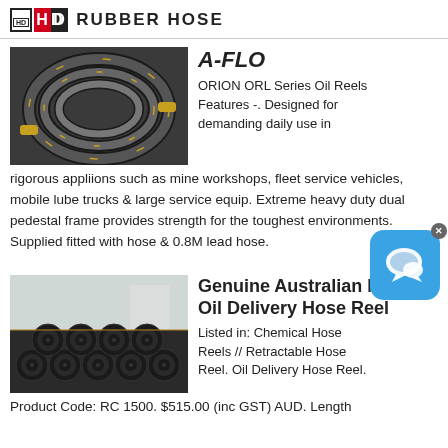HD RUBBER HOSE
[Figure (photo): Coiled black rubber hydraulic hoses with brass fittings]
A-FLO
ORION ORL Series Oil Reels Features -. Designed for demanding daily use in rigorous appliions such as mine workshops, fleet service vehicles, mobile lube trucks & large service equip. Extreme heavy duty dual pedestal frame provides strength for the toughest environments. Supplied fitted with hose & 0.8M lead hose.
[Figure (photo): Stack of large black rubber hoses viewed from the end, showing circular cross-sections]
Genuine Australian Made Oil Delivery Hose Reel
Listed in: Chemical Hose Reels // Retractable Hose Reel. Oil Delivery Hose Reel.
Product Code: RC 1500. $515.00 (inc GST) AUD. Length